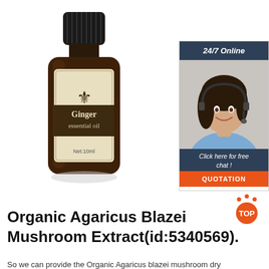[Figure (photo): A dark amber glass bottle with black ridged cap labeled 'Ginger essential oil Net:10ml' with a fleur-de-lis decoration on a cream/beige label]
[Figure (photo): Chat widget showing '24/7 Online', a woman with headset smiling, 'Click here for free chat!' text, and an orange QUOTATION button]
[Figure (other): Orange 'TOP' button with dots above in an arc]
Organic Agaricus Blazei Mushroom Extract(id:5340569).
So we can provide the Organic Agaricus blazei mushroom dry